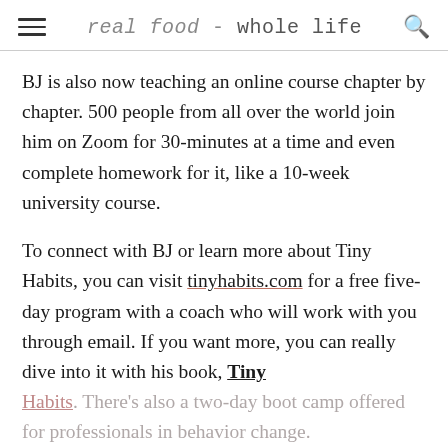≡ real food - whole life 🔍
BJ is also now teaching an online course chapter by chapter. 500 people from all over the world join him on Zoom for 30-minutes at a time and even complete homework for it, like a 10-week university course.
To connect with BJ or learn more about Tiny Habits, you can visit tinyhabits.com for a free five-day program with a coach who will work with you through email. If you want more, you can really dive into it with his book, Tiny Habits. There's also a two-day boot camp offered for professionals in behavior change.